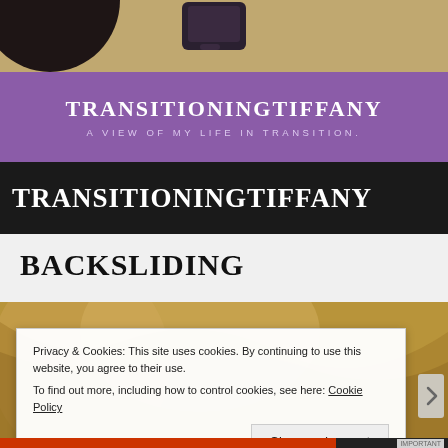[Figure (photo): Top portion of a webpage screenshot showing a person's head and a smartphone on a textured background]
TRANSITIONINGTIFFANY
A VIEW OF MY LIFE IN TRANSITION.
TRANSITIONINGTIFFANY
BACKSLIDING
[Figure (photo): An ornate golden/bronze sculptural figure or garment detail]
Privacy & Cookies: This site uses cookies. By continuing to use this website, you agree to their use.
To find out more, including how to control cookies, see here: Cookie Policy
Close and accept